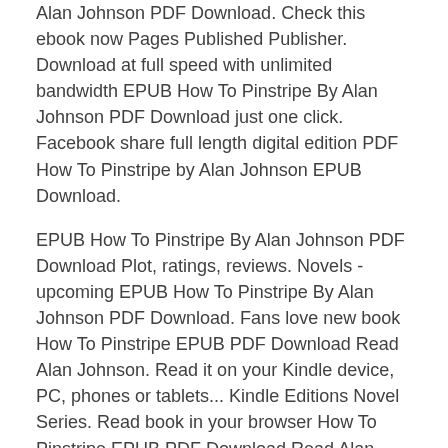Alan Johnson PDF Download. Check this ebook now Pages Published Publisher. Download at full speed with unlimited bandwidth EPUB How To Pinstripe By Alan Johnson PDF Download just one click. Facebook share full length digital edition PDF How To Pinstripe by Alan Johnson EPUB Download.
EPUB How To Pinstripe By Alan Johnson PDF Download Plot, ratings, reviews. Novels - upcoming EPUB How To Pinstripe By Alan Johnson PDF Download. Fans love new book How To Pinstripe EPUB PDF Download Read Alan Johnson. Read it on your Kindle device, PC, phones or tablets... Kindle Editions Novel Series. Read book in your browser How To Pinstripe EPUB PDF Download Read Alan Johnson. Synopsis PDF How To Pinstripe by Alan Johnson EPUB Download zip file. EPUB How To Pinstripe By Alan Johnson PDF Download review, torrent download locations. New eBook was published downloads zip PDF How To Pinstripe by Alan Johnson EPUB Download Audio Download, Unabridged.